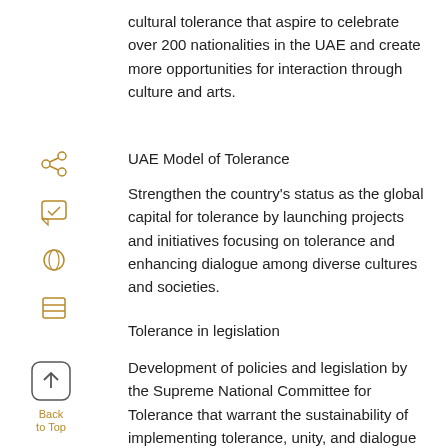cultural tolerance that aspire to celebrate over 200 nationalities in the UAE and create more opportunities for interaction through culture and arts.
UAE Model of Tolerance
Strengthen the country’s status as the global capital for tolerance by launching projects and initiatives focusing on tolerance and enhancing dialogue among diverse cultures and societies.
Tolerance in legislation
Development of policies and legislation by the Supreme National Committee for Tolerance that warrant the sustainability of implementing tolerance, unity, and dialogue among various cultures.